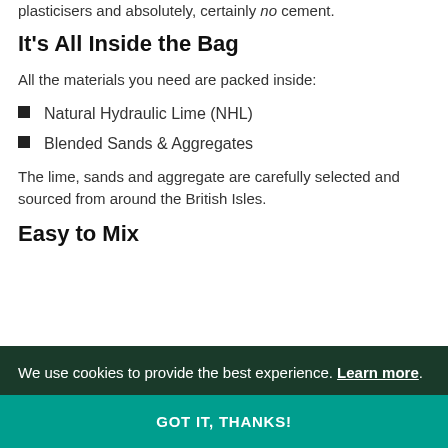plasticisers and absolutely, certainly no cement.
It's All Inside the Bag
All the materials you need are packed inside:
Natural Hydraulic Lime (NHL)
Blended Sands & Aggregates
The lime, sands and aggregate are carefully selected and sourced from around the British Isles.
Easy to Mix
We use cookies to provide the best experience. Learn more.
GOT IT, THANKS!